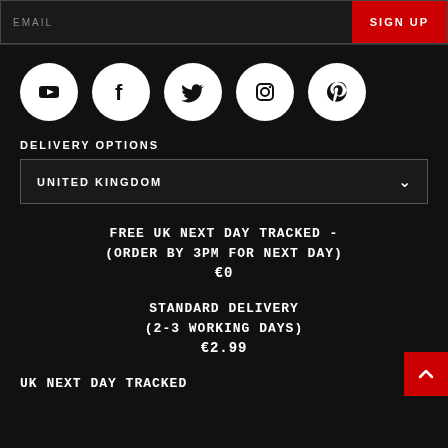EMAIL
SIGN UP
[Figure (illustration): Social media icons in white circles on dark background: YouTube, Facebook, Twitter, Instagram, Pinterest]
DELIVERY OPTIONS
UNITED KINGDOM
FREE UK NEXT DAY TRACKED -
(ORDER BY 3PM FOR NEXT DAY)
€0
STANDARD DELIVERY
(2-3 WORKING DAYS)
€2.99
UK NEXT DAY TRACKED